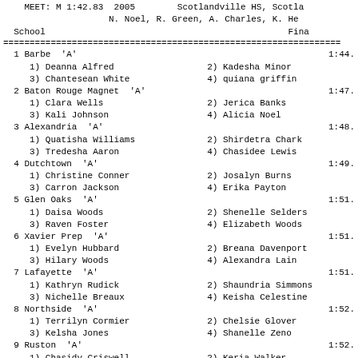MEET: M 1:42.83  2005        Scotlandville HS, Scotla...
    N. Noel, R. Green, A. Charles, K. He...
School                                            Fina...
| School/Athlete | Finals |
| --- | --- |
| 1 Barbe  'A' | 1:44. |
|    1) Deanna Alfred | 2) Kadesha Minor |
|    3) Chantesean White | 4) quiana griffin |
| 2 Baton Rouge Magnet  'A' | 1:47. |
|    1) Clara Wells | 2) Jerica Banks |
|    3) Kali Johnson | 4) Alicia Noel |
| 3 Alexandria  'A' | 1:48. |
|    1) Quatisha Williams | 2) Shirdetra Chark |
|    3) Tredesha Aaron | 4) Chasidee Lewis |
| 4 Dutchtown  'A' | 1:49. |
|    1) Christine Conner | 2) Josalyn Burns |
|    3) Carron Jackson | 4) Erika Payton |
| 5 Glen Oaks  'A' | 1:51. |
|    1) Daisa Woods | 2) Shenelle Selders |
|    3) Raven Foster | 4) Elizabeth Woods |
| 6 Xavier Prep  'A' | 1:51. |
|    1) Evelyn Hubbard | 2) Breana Davenport |
|    3) Hilary Woods | 4) Alexandra Lain |
| 7 Lafayette  'A' | 1:51. |
|    1) Kathryn Rudick | 2) Shaundria Simmons |
|    3) Nichelle Breaux | 4) Keisha Celestine |
| 8 Northside  'A' | 1:52. |
|    1) Terrilyn Cormier | 2) Chelsie Glover |
|    3) Kelsha Jones | 4) Shanelle Zeno |
| 9 Ruston  'A' | 1:52. |
|    1) Chasidy Criswell | 2) Keria Walker |
|    3) Kenyatta Harris | 4) Ashley Mcdonald |
| 10 Southern Lab  'A' | 1:52. |
|    1) Tre'Shawn Richardson | 2) Jade Meyers |
|    3) Tayler Louis | 4) Kayante Parker |
| 11 Sumner, Jewel  'A' | 1:53. |